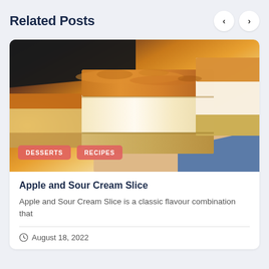Related Posts
[Figure (photo): Close-up photo of Apple and Sour Cream Slice dessert bars on a wooden board, showing layered golden caramel and cream filling with a biscuit base. Tags: DESSERTS, RECIPES overlaid on the image.]
Apple and Sour Cream Slice
Apple and Sour Cream Slice is a classic flavour combination that
August 18, 2022